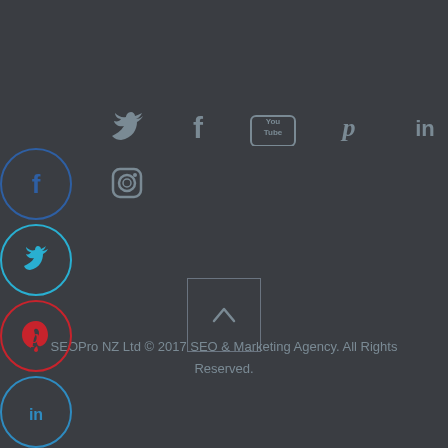[Figure (infographic): Social media sidebar icons: Facebook (blue circle), Twitter (cyan circle), Pinterest (red circle), LinkedIn (blue circle)]
[Figure (infographic): Social media icon row: Twitter bird, Facebook f, YouTube play button with 'You Tube' text, Pinterest p, LinkedIn 'in', and below: Instagram camera icon]
[Figure (other): Back to top button: square with upward chevron arrow]
SEOPro NZ Ltd © 2017 SEO & Marketing Agency. All Rights Reserved.